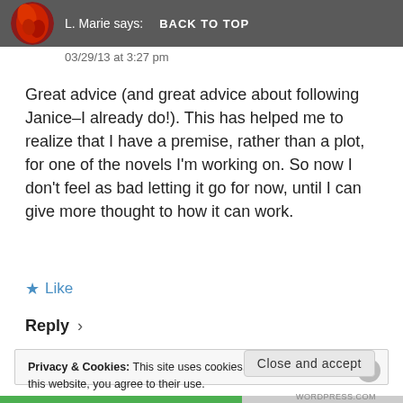L. Marie says:  BACK TO TOP
03/29/13 at 3:27 pm
Great advice (and great advice about following Janice–I already do!). This has helped me to realize that I have a premise, rather than a plot, for one of the novels I'm working on. So now I don't feel as bad letting it go for now, until I can give more thought to how it can work.
★ Like
Reply ›
Privacy & Cookies: This site uses cookies. By continuing to use this website, you agree to their use. To find out more, including how to control cookies, see here: Cookie Policy
Close and accept